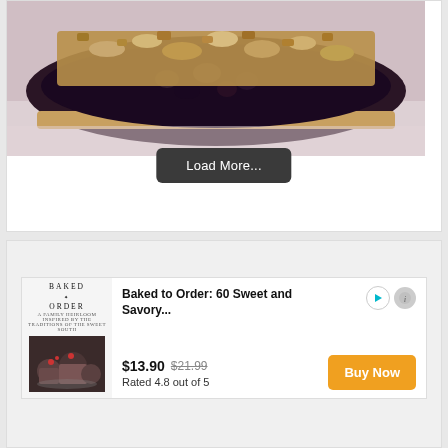[Figure (photo): A blueberry crumble pie with a golden streusel topping, sliced to reveal dark berry filling, resting on a light surface]
Load More...
[Figure (other): Advertisement for 'Baked to Order: 60 Sweet and Savory...' book showing cover image with baked goods]
Baked to Order: 60 Sweet and Savory...
$13.90  $21.99  Rated 4.8 out of 5
Buy Now